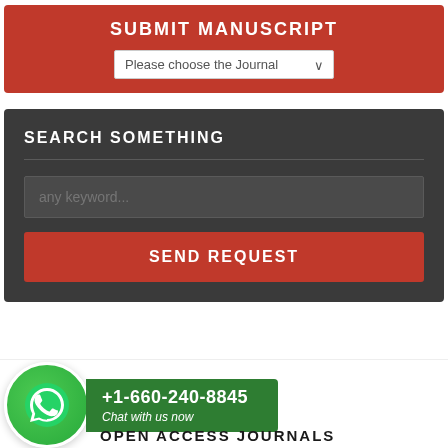SUBMIT MANUSCRIPT
Please choose the Journal
SEARCH SOMETHING
any keyword...
SEND REQUEST
[Figure (logo): WhatsApp chat badge with phone icon, number +1-660-240-8845 and text 'Chat with us now']
OPEN ACCESS JOURNALS